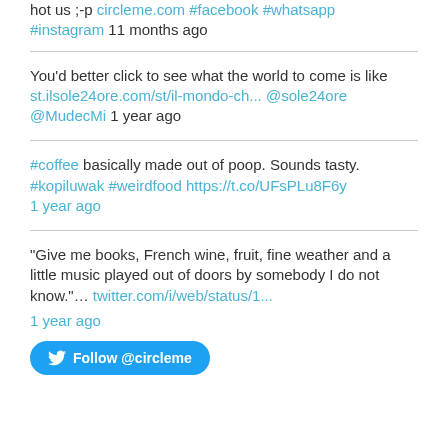hot us ;-p circleme.com #facebook #whatsapp #instagram 11 months ago
You'd better click to see what the world to come is like st.ilsole24ore.com/st/il-mondo-ch... @sole24ore @MudecMi 1 year ago
#coffee basically made out of poop. Sounds tasty. #kopiluwak #weirdfood https://t.co/UFsPLu8F6y 1 year ago
“Give me books, French wine, fruit, fine weather and a little music played out of doors by somebody I do not know.”... twitter.com/i/web/status/1... 1 year ago
Follow @circleme